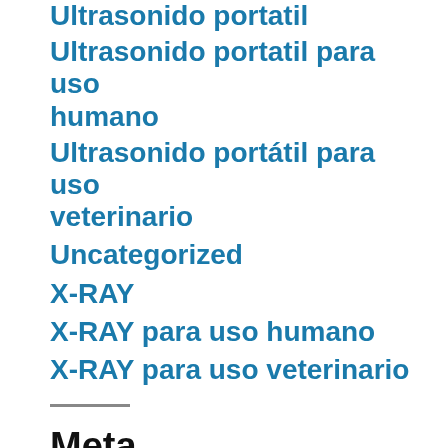Ultrasonido portatil
Ultrasonido portatil para uso humano
Ultrasonido portátil para uso veterinario
Uncategorized
X-RAY
X-RAY para uso humano
X-RAY para uso veterinario
Meta